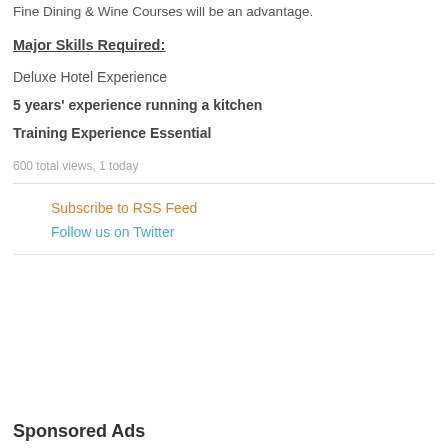Fine Dining & Wine Courses will be an advantage.
Major Skills Required:
Deluxe Hotel Experience
5 years' experience running a kitchen
Training Experience Essential
600 total views, 1 today
Subscribe to RSS Feed
Follow us on Twitter
Sponsored Ads